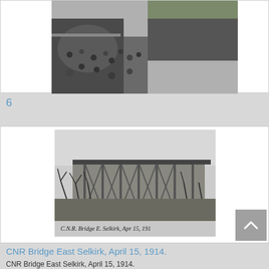[Figure (photo): Black and white photograph of a train station platform crowded with people and a passenger train alongside the platform, viewed from above.]
6
[Figure (photo): Black and white photograph of a wooden railway bridge structure, with bare trees in the foreground and handwritten caption at the bottom reading 'C.N.R. Bridge E. Selkirk, Apr 15, 1914'.]
CNR Bridge East Selkirk, April 15, 1914.
CNR Bridge East Selkirk, April 15, 1914.